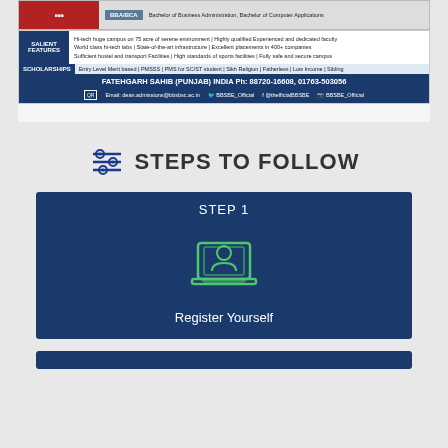[Figure (infographic): Top strip of a college advertisement banner showing BBA/BCA courses, salient features including hi-tech campus on 75 acres, scholarships, contact details for Fatehgarh Sahib Punjab India with phone numbers and social media handles.]
STEPS TO FOLLOW
STEP 1
[Figure (illustration): Green outline icon of a person on a laptop/computer screen representing online registration]
Register Yourself